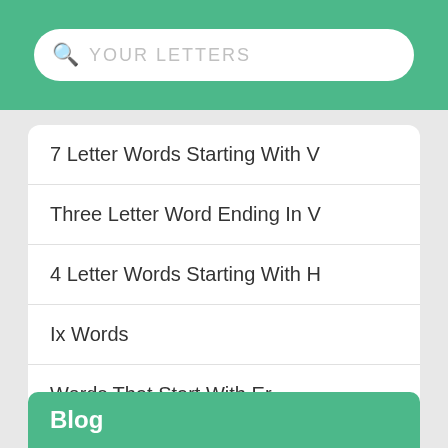[Figure (screenshot): Search bar with magnifying glass icon and placeholder text YOUR LETTERS on a green background]
7 Letter Words Starting With V
Three Letter Word Ending In V
4 Letter Words Starting With H
Ix Words
Words That Start With Er
Words That End With El
Words That Begin With E
Blog